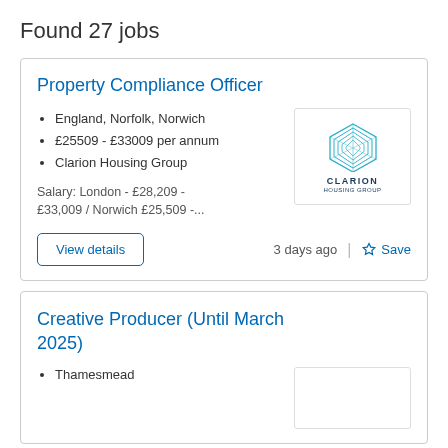Found 27 jobs
Property Compliance Officer
England, Norfolk, Norwich
£25509 - £33009 per annum
Clarion Housing Group
Salary: London - £28,209 - £33,009 / Norwich £25,509 -...
[Figure (logo): Clarion Housing Group logo - geometric cube shape in teal/blue lines with CLARION HOUSING GROUP text below]
View details
3 days ago
Save
Creative Producer (Until March 2025)
Thamesmead